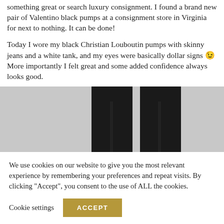something great or search luxury consignment. I found a brand new pair of Valentino black pumps at a consignment store in Virginia for next to nothing. It can be done!
Today I wore my black Christian Louboutin pumps with skinny jeans and a white tank, and my eyes were basically dollar signs 😉 More importantly I felt great and some added confidence always looks good.
[Figure (photo): Photo of a person's legs in black skinny jeans from about knee down, against a light grey/white wall background.]
We use cookies on our website to give you the most relevant experience by remembering your preferences and repeat visits. By clicking “Accept”, you consent to the use of ALL the cookies.
Cookie settings   ACCEPT